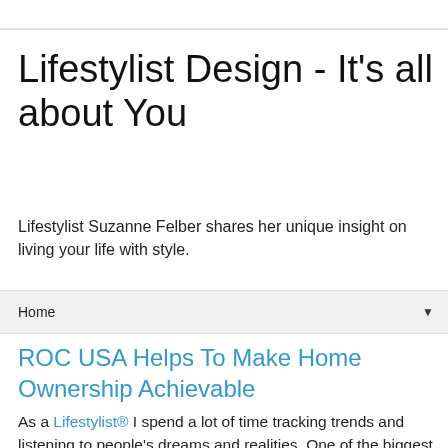Lifestylist Design - It's all about You
Lifestylist Suzanne Felber shares her unique insight on living your life with style.
Home
ROC USA Helps To Make Home Ownership Achievable
As a Lifestylist® I spend a lot of time tracking trends and listening to people's dreams and realities. One of the biggest dreams a person often has is a home of their own, and that